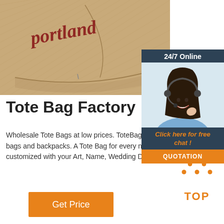[Figure (photo): Close-up of a tan/beige baseball cap with red script embroidery, showing the brim and crown with fabric texture visible.]
[Figure (photo): 24/7 Online customer service widget showing a smiling woman wearing a headset with 'Click here for free chat!' text and a QUOTATION button.]
Tote Bag Factory
Wholesale Tote Bags at low prices. ToteBagFactory is the largest supplier of cheap tote bags, canvas tote bags, drawstring bags and backpacks. A Tote Bag for every need is what we offer, look at our large selection of Blank Totes today. Or get them customized with your Art, Name, Wedding Date, or Company Logo!
[Figure (logo): TOP navigation button with orange dots forming a triangle above the word TOP in orange bold text.]
Get Price